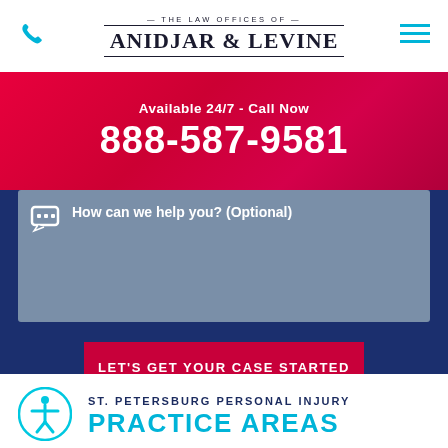The Law Offices of Anidjar & Levine
Available 24/7 - Call Now
888-587-9581
How can we help you? (Optional)
LET'S GET YOUR CASE STARTED
ST. PETERSBURG PERSONAL INJURY
PRACTICE AREAS